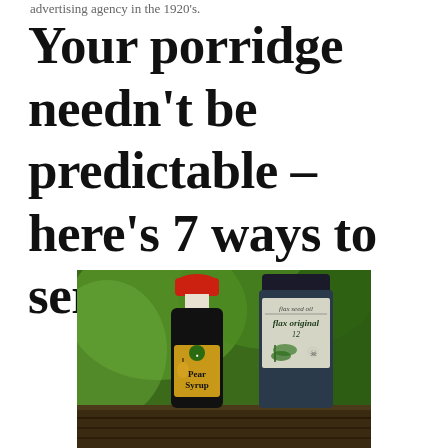advertising agency in the 1920's.
Your porridge needn't be predictable – here's 7 ways to serve porridge
[Figure (photo): Photo of two bottles on a wooden outdoor table with green foliage background: a dark bottle of 'Pear Syrup' with a red cap and orange label, and a taller dark bottle of 'flax seed oil / flax original' with a grey-green label.]